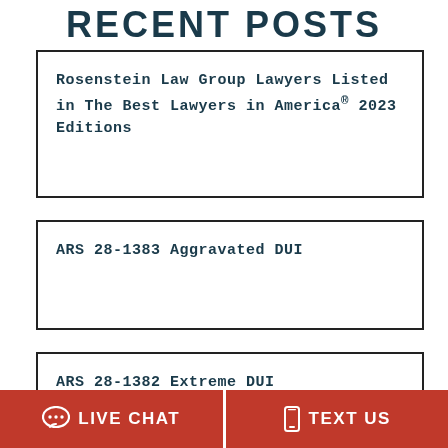RECENT POSTS
Rosenstein Law Group Lawyers Listed in The Best Lawyers in America® 2023 Editions
ARS 28-1383 Aggravated DUI
ARS 28-1382 Extreme DUI
LIVE CHAT   TEXT US